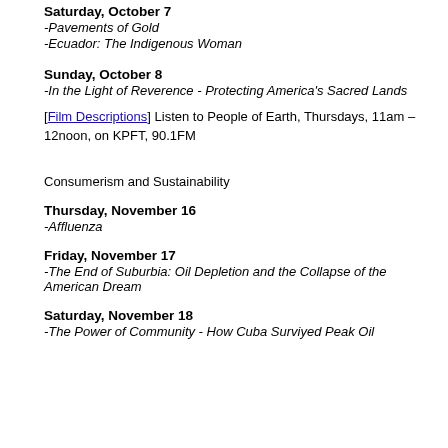Saturday, October 7
-Pavements of Gold
-Ecuador: The Indigenous Woman
Sunday, October 8
-In the Light of Reverence - Protecting America's Sacred Lands
[Film Descriptions] Listen to People of Earth, Thursdays, 11am – 12noon, on KPFT, 90.1FM
Consumerism and Sustainability
Thursday, November 16
-Affluenza
Friday, November 17
-The End of Suburbia: Oil Depletion and the Collapse of the American Dream
Saturday, November 18
-The Power of Community - How Cuba Surviyed Peak Oil